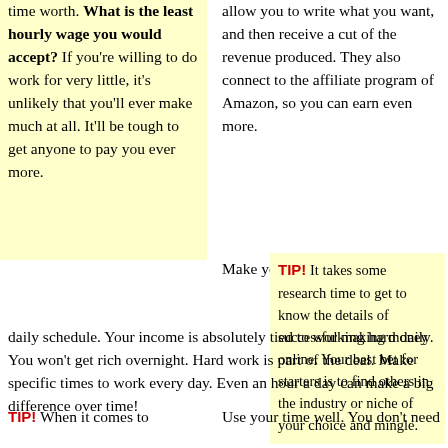time worth. What is the least hourly wage you would accept? If you're willing to do work for very little, it's unlikely that you'll ever make much at all. It'll be tough to get anyone to pay you ever more.
allow you to write what you want, and then receive a cut of the revenue produced. They also connect to the affiliate program of Amazon, so you can earn even more.
Make yourself a daily schedule. Your income is absolutely tied to working hard daily. You won't get rich overnight. Hard work is part of the deal. Make specific times to work every day. Even an hour a day can make a big difference over time!
TIP! It takes some research time to get to know the details of successful making money online. Your best bet for starters is to find others in the industry or niche of your choice and mingle.
TIP! When it comes to
Use your time well. You don't need